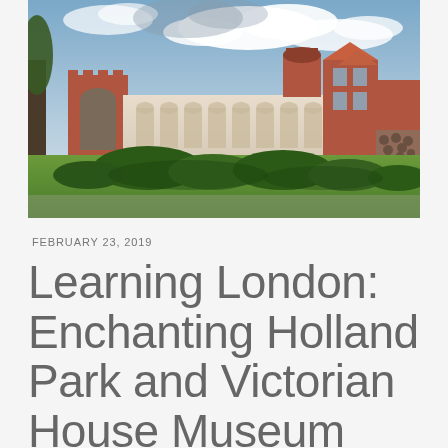[Figure (photo): Exterior photograph of Holland Park and Victorian house building: a large historic red-brick and cream-rendered building with arched colonnades, ornate gabled roofline and a round tower, set against a partly cloudy blue sky with trees and green lawn in the foreground.]
FEBRUARY 23, 2019
Learning London: Enchanting Holland Park and Victorian House Museum